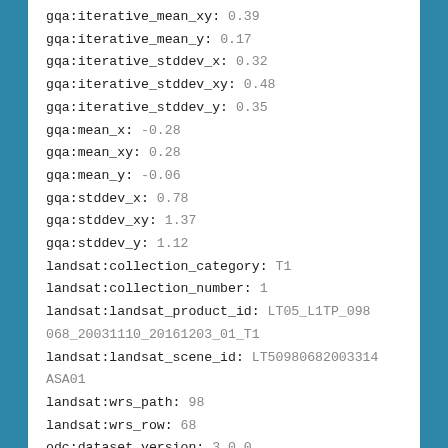gqa:iterative_mean_xy: 0.39
gqa:iterative_mean_y: 0.17
gqa:iterative_stddev_x: 0.32
gqa:iterative_stddev_xy: 0.48
gqa:iterative_stddev_y: 0.35
gqa:mean_x: -0.28
gqa:mean_xy: 0.28
gqa:mean_y: -0.06
gqa:stddev_x: 0.78
gqa:stddev_xy: 1.37
gqa:stddev_y: 1.12
landsat:collection_category: T1
landsat:collection_number: 1
landsat:landsat_product_id: LT05_L1TP_098068_20031110_20161203_01_T1
landsat:landsat_scene_id: LT50980682003314ASA01
landsat:wrs_path: 98
landsat:wrs_row: 68
odc:dataset_version: 3.0.0